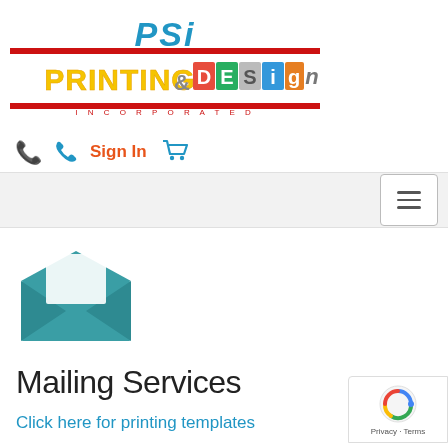[Figure (logo): PSI Printing & Design Incorporated logo with colorful lettering and red horizontal bars]
[Figure (infographic): Navigation bar with blue phone icon, orange Sign In text, and blue shopping cart icon]
[Figure (screenshot): Gray menu bar with hamburger/toggle menu button on the right]
[Figure (illustration): Teal/blue open envelope icon with letter inside]
Mailing Services
Click here for printing templates